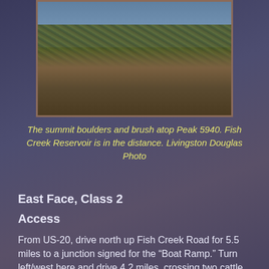[Figure (photo): Photograph showing summit boulders and brush atop Peak 5940, with Fish Creek Reservoir visible in the distance. Rocky terrain with dry brush and sparse green vegetation.]
The summit boulders and brush atop Peak 5940. Fish Creek Reservoir is in the distance. Livingston Douglas Photo
East Face, Class 2
Access
From US-20, drive north up Fish Creek Road for 5.5 miles to a junction signed for the “Boat Ramp.” Turn left/west here and drive 4.2 miles, crossing two cattle gates on the way. This is a curvy, narrow road with some blind spots so be careful when driving it. Immediately after crossing to the west side of the West Fork Fish Creek, park at an unsigned road junction on the left/south side of the road at a sharp turn. The